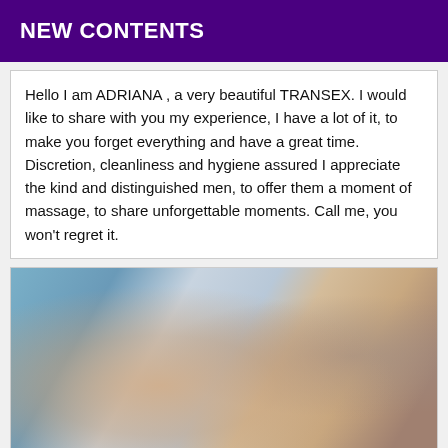NEW CONTENTS
Hello I am ADRIANA , a very beautiful TRANSEX. I would like to share with you my experience, I have a lot of it, to make you forget everything and have a great time. Discretion, cleanliness and hygiene assured I appreciate the kind and distinguished men, to offer them a moment of massage, to share unforgettable moments. Call me, you won't regret it.
[Figure (photo): A blurred close-up photograph showing a person against a patterned blue and white fabric background.]
Scroll to see more